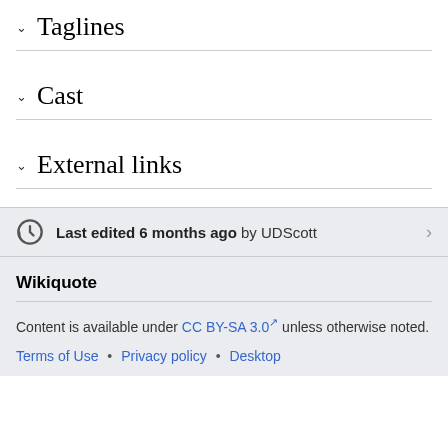Taglines
Cast
External links
Last edited 6 months ago by UDScott
Wikiquote
Content is available under CC BY-SA 3.0 unless otherwise noted.
Terms of Use • Privacy policy • Desktop